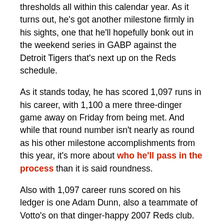thresholds all within this calendar year. As it turns out, he's got another milestone firmly in his sights, one that he'll hopefully bonk out in the weekend series in GABP against the Detroit Tigers that's next up on the Reds schedule.
As it stands today, he has scored 1,097 runs in his career, with 1,100 a mere three-dinger game away on Friday from being met. And while that round number isn't nearly as round as his other milestone accomplishments from this year, it's more about who he'll pass in the process than it is said roundness.
Also with 1,097 career runs scored on his ledger is one Adam Dunn, also a teammate of Votto's on that dinger-happy 2007 Reds club. Dunner would stick around Cincinnati for another 32 runs (and 58 runs scored) during the 2008 season before being flipped to the